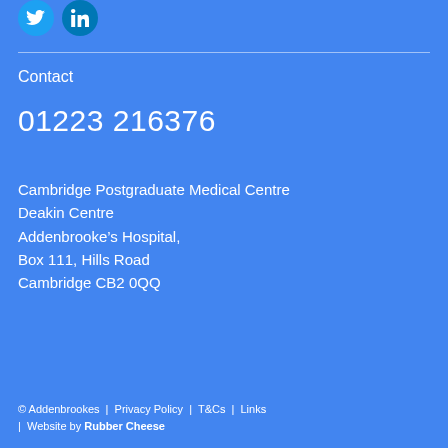[Figure (illustration): Twitter and LinkedIn social media icon circles at top left]
Contact
01223 216376
Cambridge Postgraduate Medical Centre
Deakin Centre
Addenbrooke’s Hospital,
Box 111, Hills Road
Cambridge CB2 0QQ
© Addenbrookes  |  Privacy Policy  |  T&Cs  |  Links  |  Website by Rubber Cheese